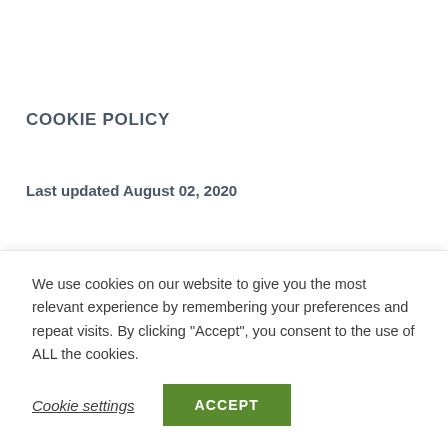COOKIE POLICY
Last updated August 02, 2020
This Cookie Policy explains how Travis Web Studio (“Company”, “we”, “us”, and “our”) uses cookies and similar technologies to
We use cookies on our website to give you the most relevant experience by remembering your preferences and repeat visits. By clicking “Accept”, you consent to the use of ALL the cookies.
Cookie settings
ACCEPT